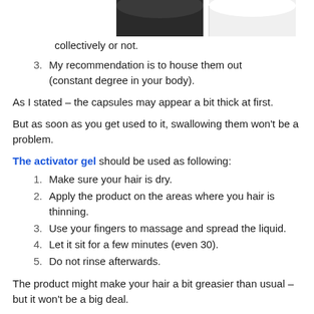[Figure (photo): Partial view of two product containers — one dark/black and one white — photographed from above, cropped at top of page.]
collectively or not.
My recommendation is to house them out (constant degree in your body).
As I stated – the capsules may appear a bit thick at first.
But as soon as you get used to it, swallowing them won't be a problem.
The activator gel should be used as following:
Make sure your hair is dry.
Apply the product on the areas where you hair is thinning.
Use your fingers to massage and spread the liquid.
Let it sit for a few minutes (even 30).
Do not rinse afterwards.
The product might make your hair a bit greasier than usual – but it won't be a big deal.